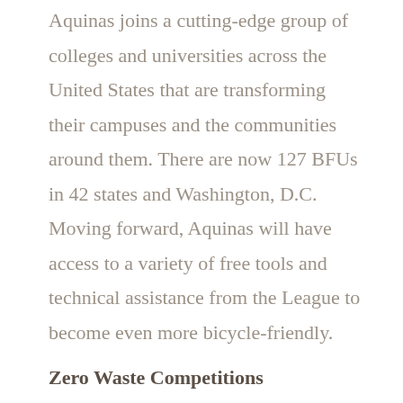Aquinas joins a cutting-edge group of colleges and universities across the United States that are transforming their campuses and the communities around them. There are now 127 BFUs in 42 states and Washington, D.C. Moving forward, Aquinas will have access to a variety of free tools and technical assistance from the League to become even more bicycle-friendly.
Zero Waste Competitions
From August 20th to September 30th,